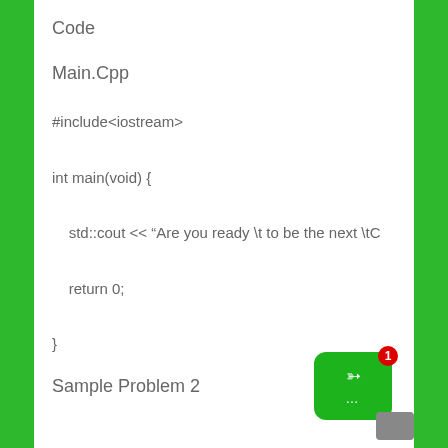Code
Main.Cpp
#include<iostream>

int main(void) {

    std::cout << “Are you ready \t to be the next \tC

    return 0;

}
Sample Problem 2